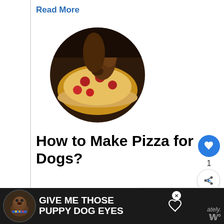Read More
[Figure (photo): Circular cropped photo of a dog sniffing or eating a pepperoni pizza]
How to Make Pizza for Dogs?
Most dogs love the aroma of and would be attracted to a dining
[Figure (photo): WHAT'S NEXT → 5 Recipes for Homemade... widget with thumbnail of dogs in a field]
[Figure (infographic): Ad banner: GIVE ME THOSE PUPPY DOG EYES with dog image and heart icon]